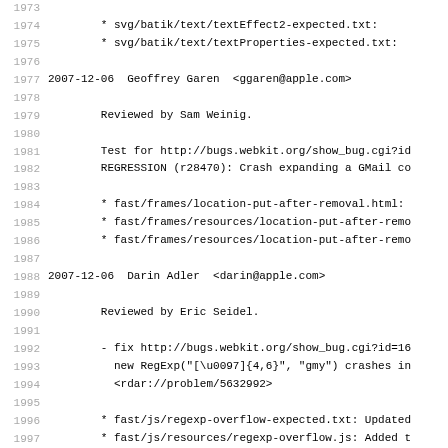Source code / changelog log viewer with line numbers 1973-2005